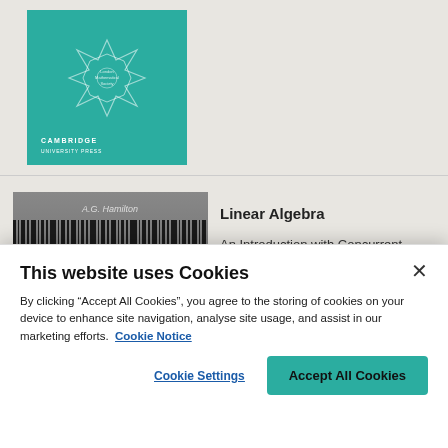[Figure (photo): Cambridge University Press book cover with teal background, London Mathematical Society star design, and Cambridge University Press logo text at bottom left]
[Figure (photo): Linear Algebra book cover by A.G. Hamilton with barcode-style vertical stripes on grey/dark background, with title LINEAR ALGEBRA in bold white text]
Linear Algebra
An Introduction with Concurrent Examples
This website uses Cookies
By clicking “Accept All Cookies”, you agree to the storing of cookies on your device to enhance site navigation, analyse site usage, and assist in our marketing efforts.  Cookie Notice
Cookie Settings
Accept All Cookies